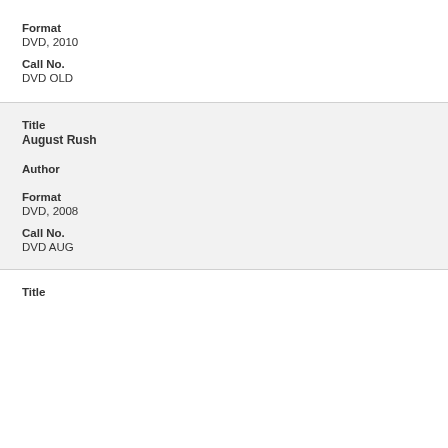Format
DVD, 2010
Call No.
DVD OLD
Title
August Rush
Author
Format
DVD, 2008
Call No.
DVD AUG
Title